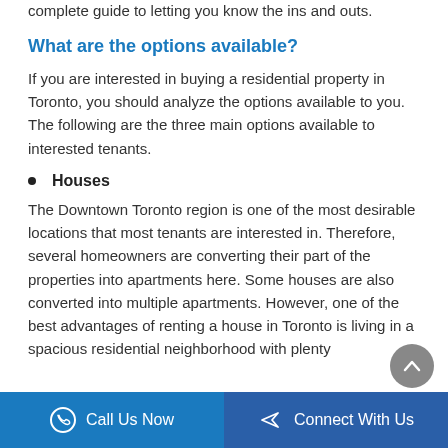mind before becoming a tenant in Toronto. Here is a complete guide to letting you know the ins and outs.
What are the options available?
If you are interested in buying a residential property in Toronto, you should analyze the options available to you. The following are the three main options available to interested tenants.
Houses
The Downtown Toronto region is one of the most desirable locations that most tenants are interested in. Therefore, several homeowners are converting their part of the properties into apartments here. Some houses are also converted into multiple apartments. However, one of the best advantages of renting a house in Toronto is living in a spacious residential neighborhood with plenty
Call Us Now   Connect With Us